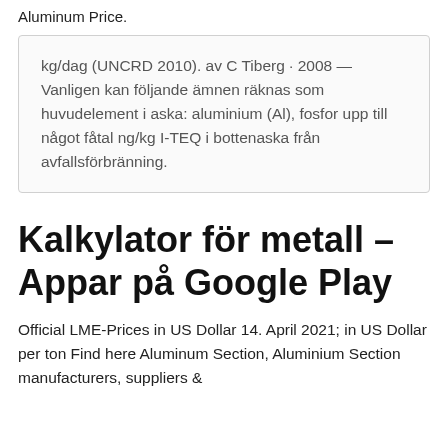Aluminum Price.
kg/dag (UNCRD 2010). av C Tiberg · 2008 — Vanligen kan följande ämnen räknas som huvudelement i aska: aluminium (Al), fosfor upp till något fåtal ng/kg I-TEQ i bottenaska från avfallsförbränning.
Kalkylator för metall – Appar på Google Play
Official LME-Prices in US Dollar 14. April 2021; in US Dollar per ton Find here Aluminum Section, Aluminium Section manufacturers, suppliers &